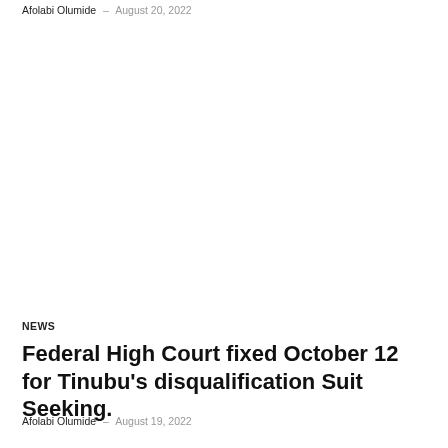Afolabi Olumide – August 20, 2022
NEWS
Federal High Court fixed October 12 for Tinubu's disqualification Suit Seeking.
Afolabi Olumide – August 19, 2022